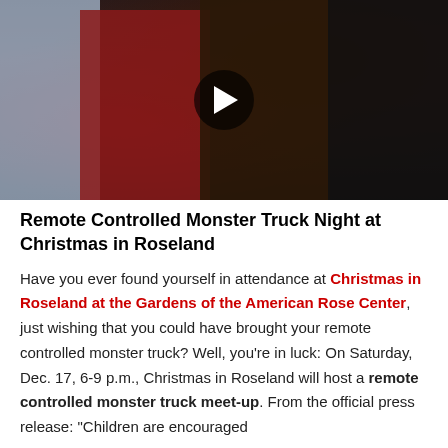[Figure (photo): A group of women seated at a formal event, with a video play button overlay in the center. Women are dressed in formal attire including red, black, and blue outfits.]
Remote Controlled Monster Truck Night at Christmas in Roseland
Have you ever found yourself in attendance at Christmas in Roseland at the Gardens of the American Rose Center, just wishing that you could have brought your remote controlled monster truck? Well, you're in luck: On Saturday, Dec. 17, 6-9 p.m., Christmas in Roseland will host a remote controlled monster truck meet-up. From the official press release: "Children are encouraged